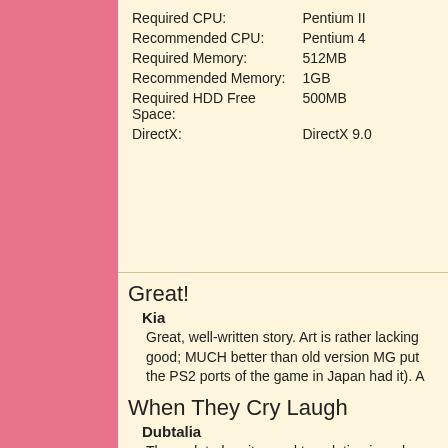| Spec | Value |
| --- | --- |
| Required CPU: | Pentium II |
| Recommended CPU: | Pentium 4 |
| Required Memory: | 512MB |
| Recommended Memory: | 1GB |
| Required HDD Free Space: | 500MB |
| DirectX: | DirectX 9.0 |
Great!
Kia
Great, well-written story. Art is rather lacking good; MUCH better than old version MG put the PS2 ports of the game in Japan had it). A
When They Cry Laugh
Dubtalia
The updated sprites and translation is so bea you want to share this experience with a frie
Higurashi is one of the classic sound novels t anime, be sure to check this out!
...More